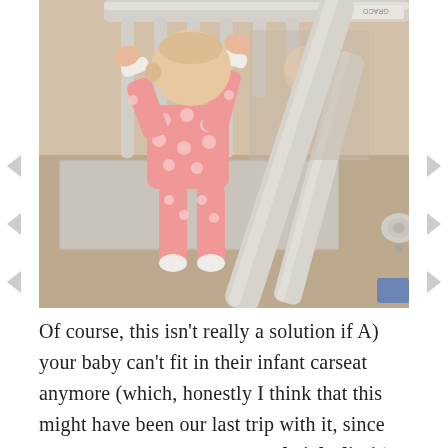[Figure (photo): A baby in a pink polka-dot onesie pajamas standing inside a white baby crib, gripping the top railing with both hands. The crib has vertical white bars and diagonal rails visible in the foreground. The background shows a tan/beige wall and the crib mattress.]
Of course, this isn't really a solution if A) your baby can't fit in their infant carseat anymore (which, honestly I think that this might have been our last trip with it, since she's just about outgrown the height limit), or B) your hotel bathroom isn't big